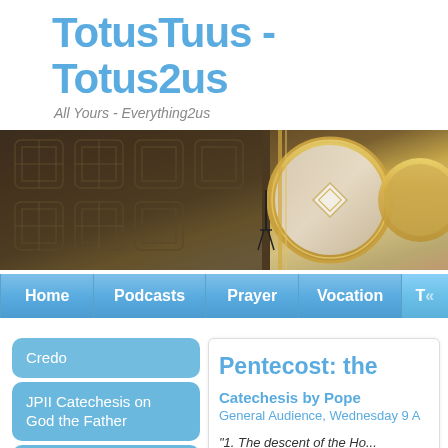TotusTuus - Totus2us
All Yours - Everything2us
[Figure (photo): Banner photo of ornate church ceiling and golden architectural details]
Home | Podcasts | Prayer | Vocation | T...
Credo
JPII Catechesis on God the Father
JPII Catechesis on God the Son, Jesus
JPII Catechesis on God the Holy Spirit
Pentecost: the
Catechesis by Pope
General Audience, Wednesday 9 A
"1. The descent of the Ho... mystery of Jesus Christ, f...